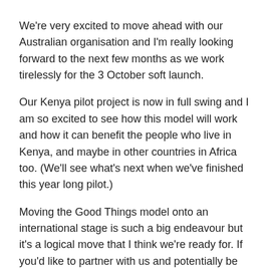We're very excited to move ahead with our Australian organisation and I'm really looking forward to the next few months as we work tirelessly for the 3 October soft launch.
Our Kenya pilot project is now in full swing and I am so excited to see how this model will work and how it can benefit the people who live in Kenya, and maybe in other countries in Africa too. (We'll see what's next when we've finished this year long pilot.)
Moving the Good Things model onto an international stage is such a big endeavour but it's a logical move that I think we're ready for. If you'd like to partner with us and potentially be part of this journey then do get in touch.
And, I know I've said it before, but seriously, watch this space for more (global) updates!